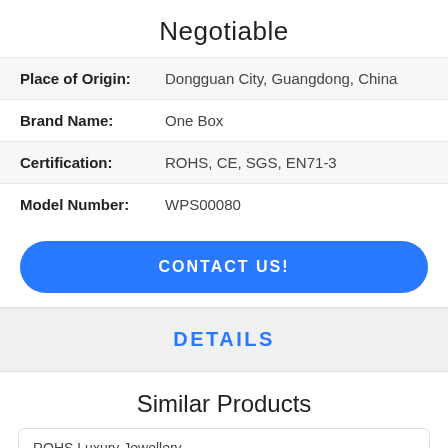Negotiable
| Field | Value |
| --- | --- |
| Place of Origin: | Dongguan City, Guangdong, China |
| Brand Name: | One Box |
| Certification: | ROHS, CE, SGS, EN71-3 |
| Model Number: | WPS00080 |
CONTACT US!
DETAILS
Similar Products
ROHS Luxury Jewellery